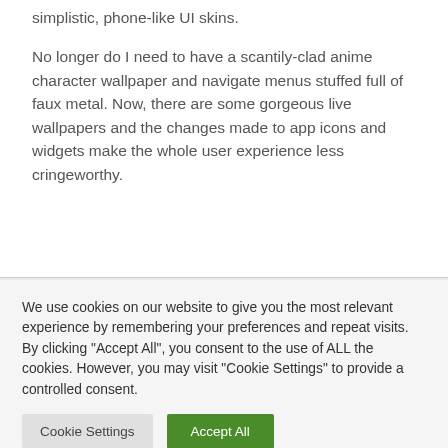simplistic, phone-like UI skins.
No longer do I need to have a scantily-clad anime character wallpaper and navigate menus stuffed full of faux metal. Now, there are some gorgeous live wallpapers and the changes made to app icons and widgets make the whole user experience less cringeworthy.
We use cookies on our website to give you the most relevant experience by remembering your preferences and repeat visits. By clicking "Accept All", you consent to the use of ALL the cookies. However, you may visit "Cookie Settings" to provide a controlled consent.